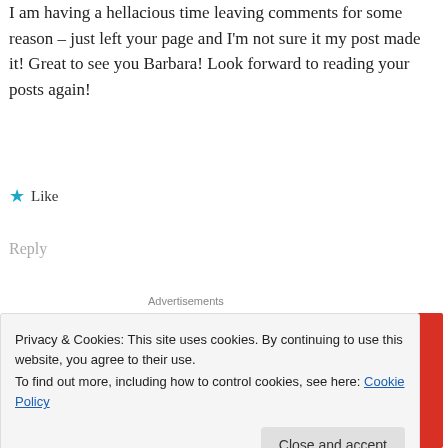I am having a hellacious time leaving comments for some reason – just left your page and I'm not sure it my post made it! Great to see you Barbara! Look forward to reading your posts again!
★ Like
Reply
Advertisements
[Figure (photo): Red advertisement banner for a podcast app reading 'An app by listeners, for listeners' with a phone mockup on the left side]
Privacy & Cookies: This site uses cookies. By continuing to use this website, you agree to their use.
To find out more, including how to control cookies, see here: Cookie Policy
Close and accept